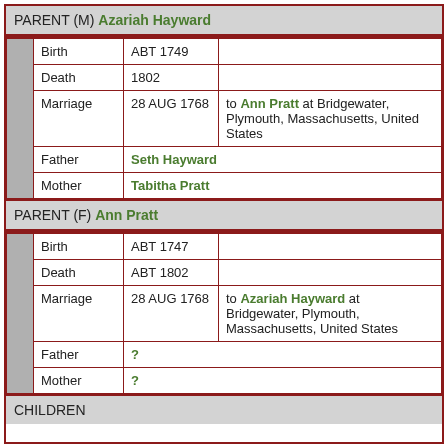PARENT (M) Azariah Hayward
| Birth | ABT 1749 |  |
| Death | 1802 |  |
| Marriage | 28 AUG 1768 | to Ann Pratt at Bridgewater, Plymouth, Massachusetts, United States |
| Father | Seth Hayward |  |
| Mother | Tabitha Pratt |  |
PARENT (F) Ann Pratt
| Birth | ABT 1747 |  |
| Death | ABT 1802 |  |
| Marriage | 28 AUG 1768 | to Azariah Hayward at Bridgewater, Plymouth, Massachusetts, United States |
| Father | ? |  |
| Mother | ? |  |
CHILDREN